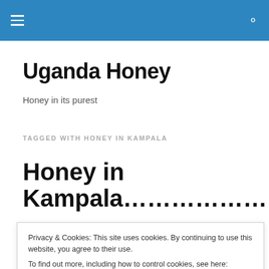Uganda Honey [navigation bar]
Uganda Honey
Honey in its purest
TAGGED WITH HONEY IN KAMPALA
Honey in Kampala………………………..
Privacy & Cookies: This site uses cookies. By continuing to use this website, you agree to their use.
To find out more, including how to control cookies, see here: Cookie Policy
Kampala, it was 2358hrs. This time round we had 2 more